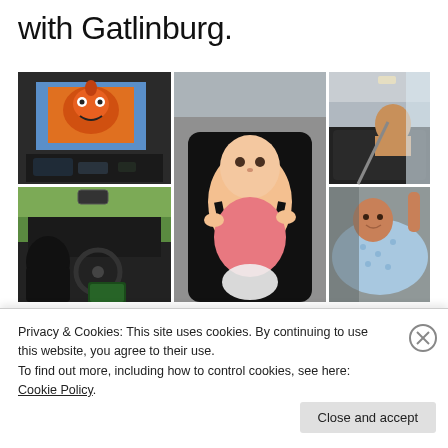with Gatlinburg.
[Figure (photo): A 2x3 grid of car trip photos: top-left shows a cartoon playing on a car screen, bottom-left shows a child driving/back seat view, center shows a baby in a car seat, top-right and bottom-right show a child lying in the back of an SUV with a blanket.]
Privacy & Cookies: This site uses cookies. By continuing to use this website, you agree to their use.
To find out more, including how to control cookies, see here: Cookie Policy
Close and accept